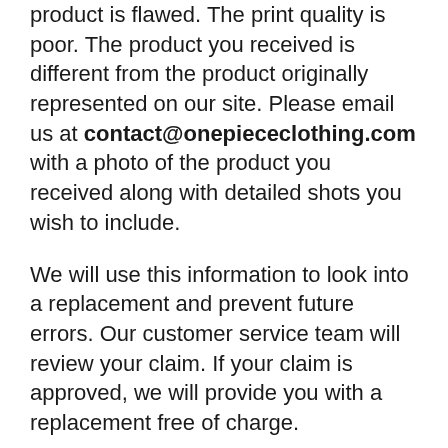product is flawed. The print quality is poor. The product you received is different from the product originally represented on our site. Please email us at contact@onepiececlothing.com with a photo of the product you received along with detailed shots you wish to include.
We will use this information to look into a replacement and prevent future errors. Our customer service team will review your claim. If your claim is approved, we will provide you with a replacement free of charge.
For all other requests please email us at contact@onepiececlothing.com. Our customer service team will review your claim. If your claim is approved, we will provide you with a return address.